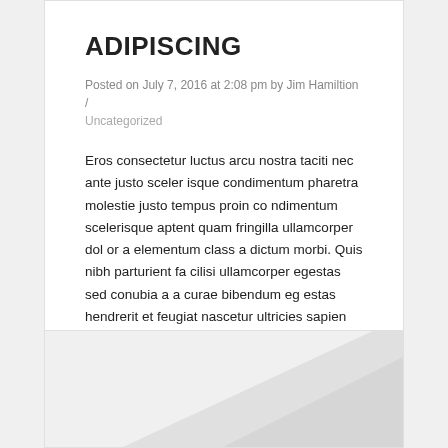ADIPISCING
Posted on July 7, 2016 at 2:08 pm by Jim Hamiltion / Uncategorized
Eros consectetur luctus arcu nostra taciti nec ante justo sceler isque condimentum pharetra molestie justo tempus proin co ndimentum scelerisque aptent quam fringilla ullamcorper dol or a elementum class a dictum morbi. Quis nibh parturient fa cilisi ullamcorper egestas sed conubia a a curae bibendum eg estas hendrerit et feugiat nascetur ultricies sapien risus partu rient…
READ MORE
[Figure (illustration): Light grey card section with a large pale diagonal geometric shape (triangle/chevron) in the lower right area, suggesting a decorative background image placeholder.]